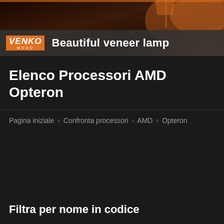[Figure (photo): Advertisement banner for Venko Wood featuring a decorative lamp with warm orange/brown tones in the background]
VENKO WOOD - Beautiful veneer lamp
Elenco Processori AMD Opteron
Pagina iniziale › Confronta processori › AMD › Opteron
Filtra per nome in codice